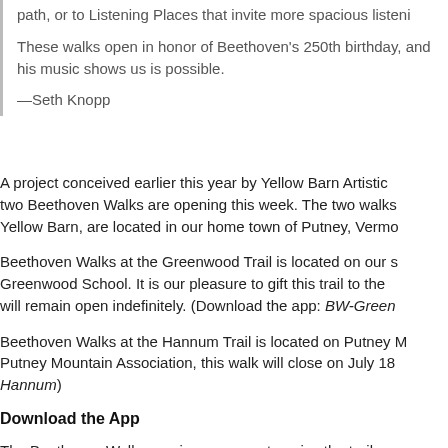path, or to Listening Places that invite more spacious listening.
These walks open in honor of Beethoven's 250th birthday, and his music shows us is possible.
—Seth Knopp
A project conceived earlier this year by Yellow Barn Artistic two Beethoven Walks are opening this week. The two walks Yellow Barn, are located in our home town of Putney, Vermo
Beethoven Walks at the Greenwood Trail is located on our s Greenwood School. It is our pleasure to gift this trail to the will remain open indefinitely. (Download the app: BW-Green
Beethoven Walks at the Hannum Trail is located on Putney M Putney Mountain Association, this walk will close on July 18 Hannum)
Download the App
The Beethoven Walks app is necessary to enjoy the trail—m